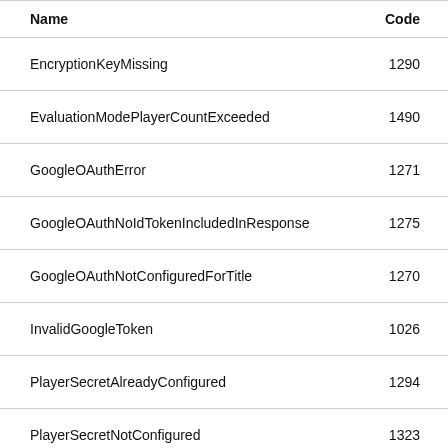| Name | Code |
| --- | --- |
| EncryptionKeyMissing | 1290 |
| EvaluationModePlayerCountExceeded | 1490 |
| GoogleOAuthError | 1271 |
| GoogleOAuthNoIdTokenIncludedInResponse | 1275 |
| GoogleOAuthNotConfiguredForTitle | 1270 |
| InvalidGoogleToken | 1026 |
| PlayerSecretAlreadyConfigured | 1294 |
| PlayerSecretNotConfigured | 1323 |